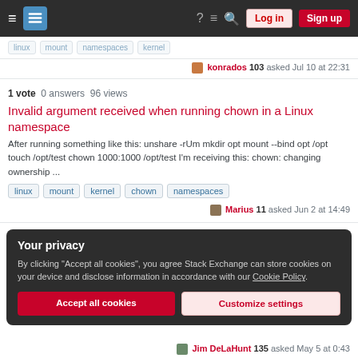Stack Exchange navigation bar with Log in and Sign up buttons
konrados 103 asked Jul 10 at 22:31
1 vote  0 answers  96 views
Invalid argument received when running chown in a Linux namespace
After running something like this: unshare -rUm mkdir opt mount --bind opt /opt touch /opt/test chown 1000:1000 /opt/test I'm receiving this: chown: changing ownership ...
linux
mount
kernel
chown
namespaces
Marius 11 asked Jun 2 at 14:49
Your privacy
By clicking "Accept all cookies", you agree Stack Exchange can store cookies on your device and disclose information in accordance with our Cookie Policy.
Accept all cookies   Customize settings
Jim DeLaHunt 135 asked May 5 at 0:43